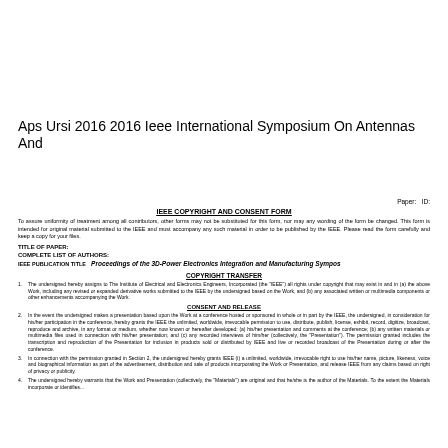Aps Ursi 2016 2016 Ieee International Symposium On Antennas And
Paper: ID:
IEEE COPYRIGHT AND CONSENT FORM
To assure uniformity of treatment among all contributors, other forms may not be substituted for this form, nor may any wording of the form be changed. This form is intended for original material submitted to the IEEE and must accompany any such material in order to be published by the IEEE. Please read the form carefully and keep a copy for your files.
TITLE OF PAPER:
COMPLETE LIST OF AUTHORS:
IEEE PUBLICATION TITLE   Proceedings of the 3D-Power Electronics Integration and Manufacturing Sympos
COPYRIGHT TRANSFER
1. The undersigned hereby assigns to The Institute of Electrical and Electronics Engineers, Incorporated (the "IEEE") all rights under copyright that may exist in and in (a) the above Work, including any revised or expanded derivative works submitted to the IEEE by the undersigned based on the Work, and (b) any associated written or multimedia components or other enhancements accompanying the Work.
CONSENT AND RELEASE
2. In the event the undersigned makes a presentation based upon the Work at a conference hosted or sponsored in whole or in part by the IEEE, the undersigned, in consideration for his/her participation in the conference, hereby grants the IEEE the unlimited, worldwide, irrevocable permission to use, distribute, publish, license, exhibit, record, digitize, broadcast, reproduce and archive, in any format or medium, whether now known or hereafter developed: (a) his/her presentation and comments at the conference; (b) any written materials or multimedia files used in connection with his/her presentation; and (c) any recorded interviews of him/her (collectively, the "Presentation"). The permission granted includes the transcription and reproduction of the Presentation for inclusion in products sold or distributed by IEEE and live or recorded broadcast of the Presentation during or after the conference.
3. In connection with the permission granted in Section 2, the undersigned hereby grants IEEE (i) a unlimited, worldwide, irrevocable right to use his/her name, picture, likeness, voice and biographical information as part of the advertisement, distribution and sale of products incorporating the Work or Presentation, and release IEEE from any claims based on right of privacy or publicity.
4. The undersigned hereby warrants that the Work and Presentation (collectively, the "Materials") are original and that he/she is the author of the Materials. To the extent the Materials incorporate or identify...